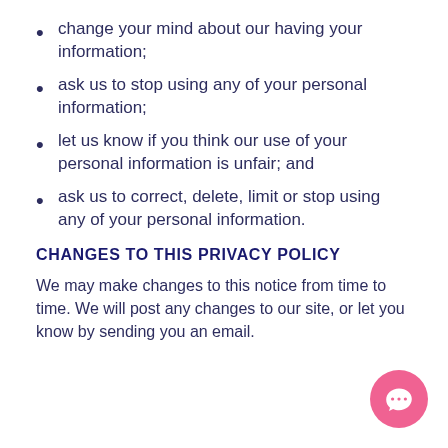change your mind about our having your information;
ask us to stop using any of your personal information;
let us know if you think our use of your personal information is unfair; and
ask us to correct, delete, limit or stop using any of your personal information.
CHANGES TO THIS PRIVACY POLICY
We may make changes to this notice from time to time. We will post any changes to our site, or let you know by sending you an email.